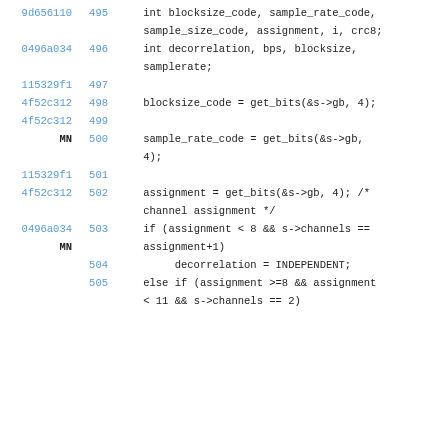9d656110 495    int blocksize_code, sample_rate_code,
               sample_size_code, assignment, i, crc8;
0496a034 496    int decorrelation, bps, blocksize,
               samplerate;
115329f1 497
4f52c312 498    blocksize_code = get_bits(&s->gb, 4);
4f52c312 499
MN
         500    sample_rate_code = get_bits(&s->gb,
               4);
115329f1 501
4f52c312 502    assignment = get_bits(&s->gb, 4); /*
               channel assignment */
0496a034 503    if (assignment < 8 && s->channels ==
MN       assignment+1)
504         decorrelation = INDEPENDENT;
505    else if (assignment >=8 && assignment
               < 11 && s->channels == 2)